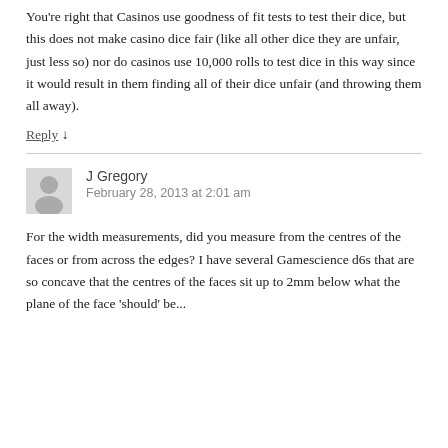You're right that Casinos use goodness of fit tests to test their dice, but this does not make casino dice fair (like all other dice they are unfair, just less so) nor do casinos use 10,000 rolls to test dice in this way since it would result in them finding all of their dice unfair (and throwing them all away).
Reply ↓
J Gregory
February 28, 2013 at 2:01 am
For the width measurements, did you measure from the centres of the faces or from across the edges? I have several Gamescience d6s that are so concave that the centres of the faces sit up to 2mm below what the plane of the face 'should' be...